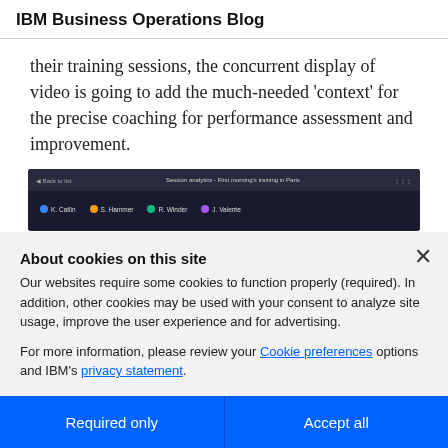IBM Business Operations Blog
their training sessions, the concurrent display of video is going to add the much-needed ‘context’ for the precise coaching for performance assessment and improvement.
[Figure (screenshot): Dark-themed app screenshot showing 'Session analytics - First morning's training in Paris' with colored dots labeling K. Catlin, S. Hammer, R. Winder, J. Valente]
About cookies on this site
Our websites require some cookies to function properly (required). In addition, other cookies may be used with your consent to analyze site usage, improve the user experience and for advertising.
For more information, please review your Cookie preferences options and IBM’s privacy statement.